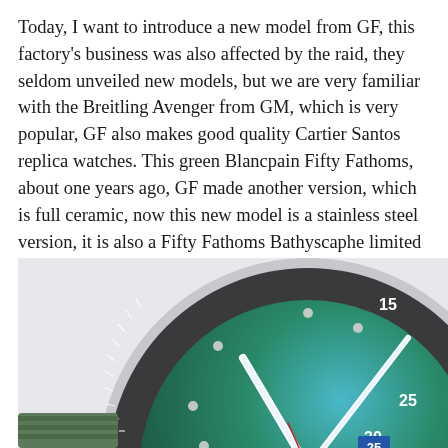Today, I want to introduce a new model from GF, this factory's business was also affected by the raid, they seldom unveiled new models, but we are very familiar with the Breitling Avenger from GM, which is very popular, GF also makes good quality Cartier Santos replica watches. This green Blancpain Fifty Fathoms, about one years ago, GF made another version, which is full ceramic, now this new model is a stainless steel version, it is also a Fifty Fathoms Bathyscaphe limited edition.
[Figure (photo): Close-up photograph of a Blancpain Fifty Fathoms Bathyscaphe watch with a green gradient dial, dark bezel with minute markings, white luminous hands and markers, date window showing 25, and a steel bracelet/green strap. Numbers 15, 25, 30 visible on the rotating bezel.]